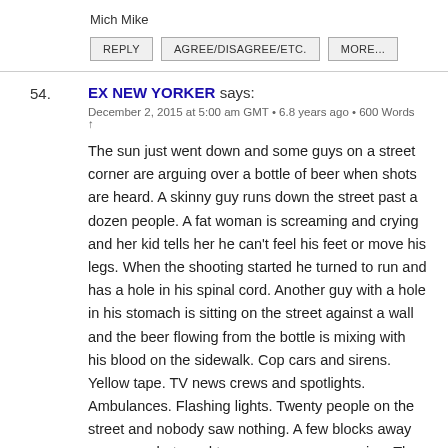Mich Mike
REPLY   AGREE/DISAGREE/ETC.   MORE...
54.   EX NEW YORKER says:
December 2, 2015 at 5:00 am GMT • 6.8 years ago • 600 Words  ↑

The sun just went down and some guys on a street corner are arguing over a bottle of beer when shots are heard. A skinny guy runs down the street past a dozen people. A fat woman is screaming and crying and her kid tells her he can't feel his feet or move his legs. When the shooting started he turned to run and has a hole in his spinal cord. Another guy with a hole in his stomach is sitting on the street against a wall and the beer flowing from the bottle is mixing with his blood on the sidewalk. Cop cars and sirens. Yellow tape. TV news crews and spotlights. Ambulances. Flashing lights. Twenty people on the street and nobody saw nothing. A few blocks away more gunshots and two women are screaming. The sound of footsteps running down an alley where a 15 year old kid lies dead in a doorway. More sirens and flashing lights. Helicopters flying